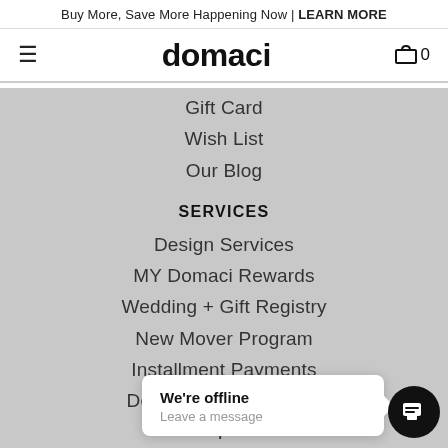Buy More, Save More Happening Now | LEARN MORE
domaci  0
Gift Card
Wish List
Our Blog
SERVICES
Design Services
MY Domaci Rewards
Wedding + Gift Registry
New Mover Program
Installment Payments
Design Trade Program
We're offline
Leave a message